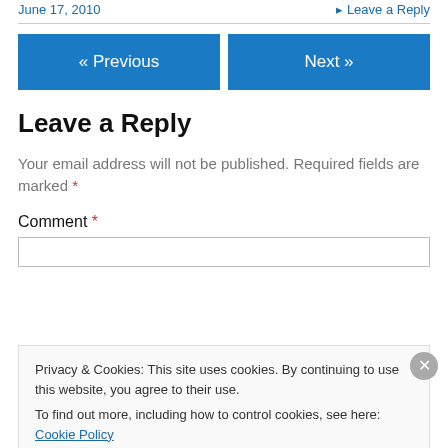June 17, 2010   ▸ Leave a Reply
« Previous   Next »
Leave a Reply
Your email address will not be published. Required fields are marked *
Comment *
Privacy & Cookies: This site uses cookies. By continuing to use this website, you agree to their use.
To find out more, including how to control cookies, see here: Cookie Policy
Close and accept